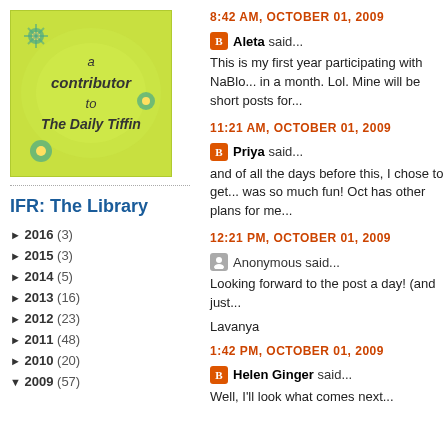[Figure (illustration): Green badge/sticker image with text 'a contributor to The Daily Tiffin' with teal flower decorations]
IFR: The Library
► 2016 (3)
► 2015 (3)
► 2014 (5)
► 2013 (16)
► 2012 (23)
► 2011 (48)
► 2010 (20)
▼ 2009 (57)
8:42 AM, OCTOBER 01, 2009
Aleta said...
This is my first year participating with NaBlo... in a month. Lol. Mine will be short posts for...
11:21 AM, OCTOBER 01, 2009
Priya said...
and of all the days before this, I chose to get... was so much fun! Oct has other plans for me...
12:21 PM, OCTOBER 01, 2009
Anonymous said...
Looking forward to the post a day! (and just...
Lavanya
1:42 PM, OCTOBER 01, 2009
Helen Ginger said...
Well, I'll look what comes next...